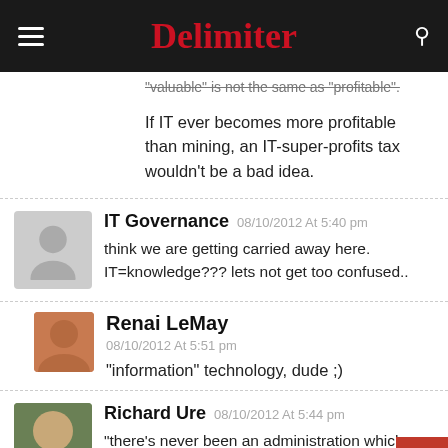Delimiter
"valuable" is not the same as "profitable".
If IT ever becomes more profitable than mining, an IT-super-profits tax wouldn't be a bad idea.
IT Governance 08/10/2012 At 5:40 pm
think we are getting carried away here. IT=knowledge??? lets not get too confused..
Renai LeMay
08/10/2012 At 5:51 pm
“information” technology, dude ;)
Richard Ure 08/10/2012 At 5:44 pm
“there's never been an administration which understands